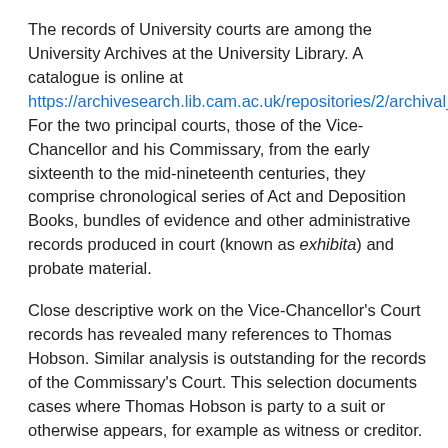The records of University courts are among the University Archives at the University Library. A catalogue is online at https://archivesearch.lib.cam.ac.uk/repositories/2/archival_ob For the two principal courts, those of the Vice-Chancellor and his Commissary, from the early sixteenth to the mid-nineteenth centuries, they comprise chronological series of Act and Deposition Books, bundles of evidence and other administrative records produced in court (known as exhibita) and probate material.
Close descriptive work on the Vice-Chancellor's Court records has revealed many references to Thomas Hobson. Similar analysis is outstanding for the records of the Commissary's Court. This selection documents cases where Thomas Hobson is party to a suit or otherwise appears, for example as witness or creditor. His son, Thomas junior, features in one case. It also includes, from elsewhere in the archives, records relating to Hobson and poor relief, and Hobson and plague.